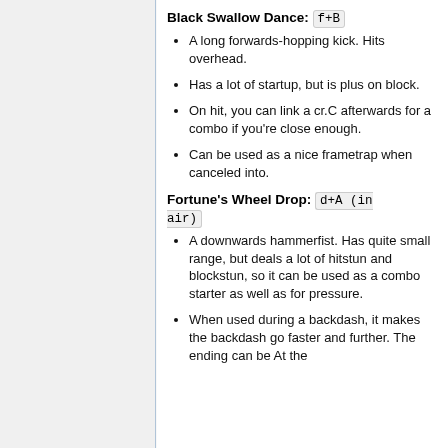Black Swallow Dance: f+B
A long forwards-hopping kick. Hits overhead.
Has a lot of startup, but is plus on block.
On hit, you can link a cr.C afterwards for a combo if you're close enough.
Can be used as a nice frametrap when canceled into.
Fortune's Wheel Drop: d+A (in air)
A downwards hammerfist. Has quite small range, but deals a lot of hitstun and blockstun, so it can be used as a combo starter as well as for pressure.
When used during a backdash, it makes the backdash go faster and further. The ending can be At the...